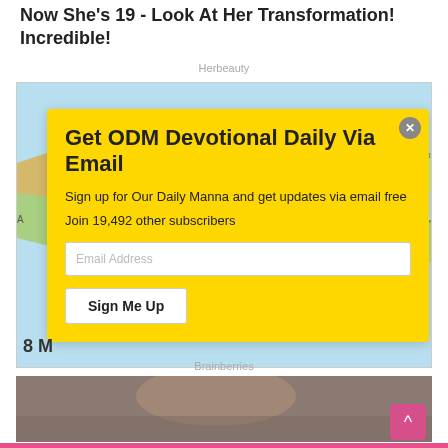Now She's 19 - Look At Her Transformation! Incredible!
Herbeauty
[Figure (screenshot): A screenshot of a webpage showing a map partially obscured by a yellow modal popup dialog for ODM Devotional email subscription. Below the map is a photo of a person.]
Get ODM Devotional Daily Via Email
Sign up for Our Daily Manna and get updates via email free
Join 19,492 other subscribers
Brainberries